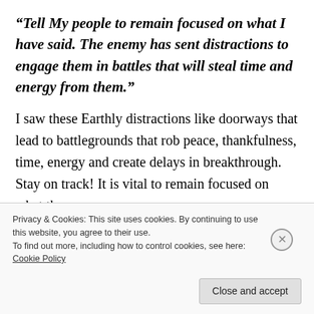“Tell My people to remain focused on what I have said. The enemy has sent distractions to engage them in battles that will steal time and energy from them.”
I saw these Earthly distractions like doorways that lead to battlegrounds that rob peace, thankfulness, time, energy and create delays in breakthrough. Stay on track! It is vital to remain focused on what the
Privacy & Cookies: This site uses cookies. By continuing to use this website, you agree to their use.
To find out more, including how to control cookies, see here: Cookie Policy